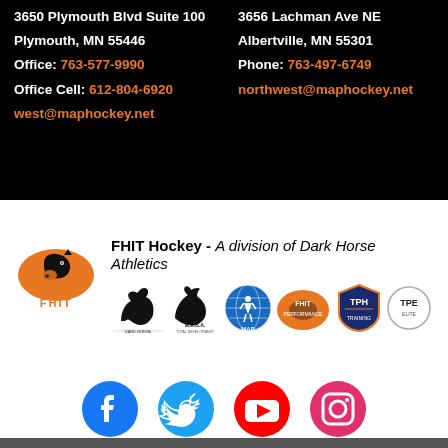3650 Plymouth Blvd Suite 100
Plymouth, MN 55446
Office: 763-577-9990
Office Cell: 612-804-6920
west@maphockey.net
3656 Lachman Ave NE
Albertville, MN 55301
Phone: 763-497-6749
northwest@maphockey.net
[Figure (logo): FHIT Hockey logo - orange oval with horse head, text FHIT HOCKEY below]
FHIT Hockey - A division of Dark Horse Athletics
[Figure (logo): Row of logos: Dark Horse, M.E.G.A., MAP, FHIT Performance, TPH, TPE Elite]
[Figure (infographic): Social media icons: Facebook (blue circle), Twitter (light blue circle), YouTube (red circle), Instagram (pink/magenta circle)]